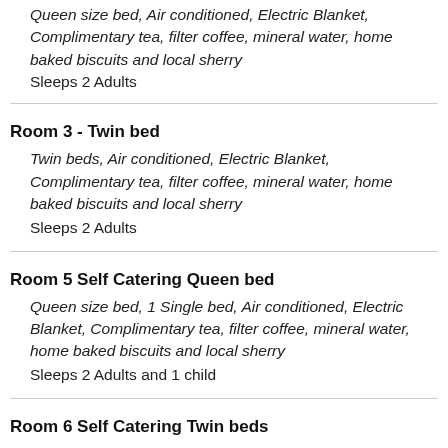Queen size bed, Air conditioned, Electric Blanket, Complimentary tea, filter coffee, mineral water, home baked biscuits and local sherry
Sleeps 2 Adults
Room 3 - Twin bed
Twin beds, Air conditioned, Electric Blanket, Complimentary tea, filter coffee, mineral water, home baked biscuits and local sherry
Sleeps 2 Adults
Room 5 Self Catering Queen bed
Queen size bed, 1 Single bed, Air conditioned, Electric Blanket, Complimentary tea, filter coffee, mineral water, home baked biscuits and local sherry
Sleeps 2 Adults and 1 child
Room 6 Self Catering Twin beds